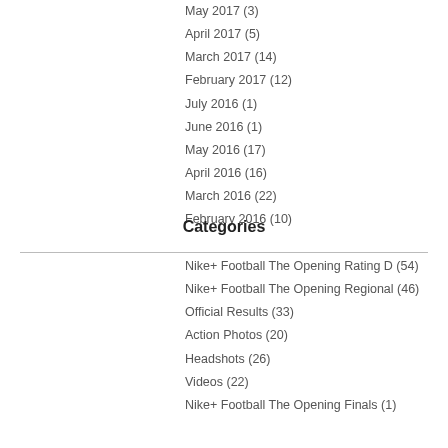May 2017 (3)
April 2017 (5)
March 2017 (14)
February 2017 (12)
July 2016 (1)
June 2016 (1)
May 2016 (17)
April 2016 (16)
March 2016 (22)
February 2016 (10)
Categories
Nike+ Football The Opening Rating D (54)
Nike+ Football The Opening Regional (46)
Official Results (33)
Action Photos (20)
Headshots (26)
Videos (22)
Nike+ Football The Opening Finals (1)